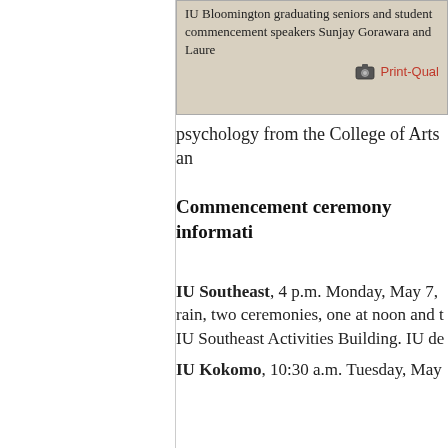[Figure (screenshot): Image box with text about IU Bloomington graduating seniors and student commencement speakers Sunjay Gorawara and Lauren, with a Print-Quality link]
psychology from the College of Arts an
Commencement ceremony informati
IU Southeast, 4 p.m. Monday, May 7, rain, two ceremonies, one at noon and t IU Southeast Activities Building. IU de
IU Kokomo, 10:30 a.m. Tuesday, May Hall. In case of rain, two ceremonies w 10:30 a.m. and the other at 1:30 p.m. IU
IU South Bend, 6 p.m. Tuesday, May 8 Notre Dame. IU degrees will be award